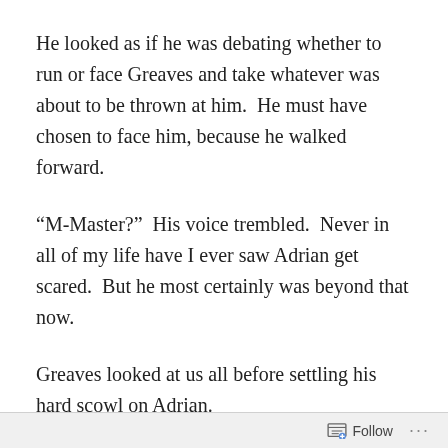He looked as if he was debating whether to run or face Greaves and take whatever was about to be thrown at him.  He must have chosen to face him, because he walked forward.
“M-Master?”  His voice trembled.  Never in all of my life have I ever saw Adrian get scared.  But he most certainly was beyond that now.
Greaves looked at us all before settling his hard scowl on Adrian.
“What have you done?”  He asked in a cool voice, far
Follow ···